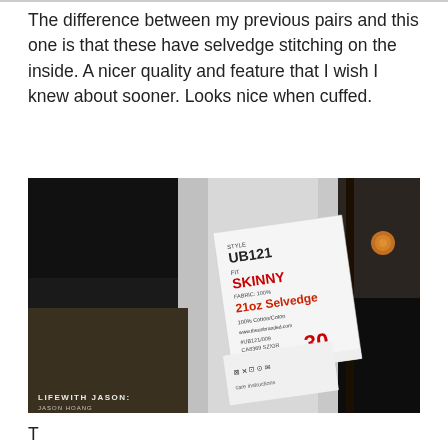The difference between my previous pairs and this one is that these have selvedge stitching on the inside. A nicer quality and feature that I wish I knew about sooner. Looks nice when cuffed.
[Figure (photo): Close-up photo of a clothing label inside dark jeans showing style UB121, fit SKINNY, 21oz Selvedge, 100% Cotton/Coton, size 30, with care symbols. Watermark reads LIFEWITH JASON HOANG.]
T